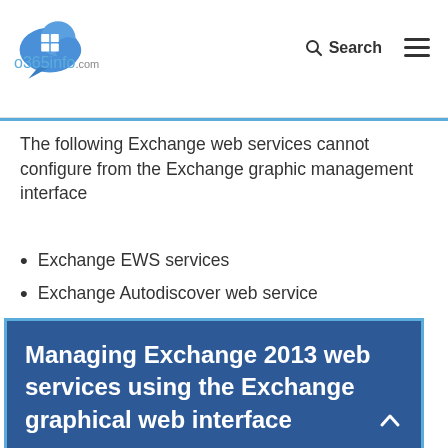[Figure (logo): o365info.com logo — blue cloud with white Windows-style grid icon and speech bubble, with text 'o365info.com' below]
The following Exchange web services cannot configure from the Exchange graphic management interface
Exchange EWS services
Exchange Autodiscover web service
Managing Exchange 2013 web services using the Exchange graphical web interface